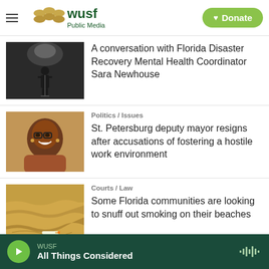WUSF Public Media — Donate
[Figure (photo): Black and white photo of a person performing on stage]
A conversation with Florida Disaster Recovery Mental Health Coordinator Sara Newhouse
[Figure (photo): Photo of a smiling woman wearing glasses]
Politics / Issues
St. Petersburg deputy mayor resigns after accusations of fostering a hostile work environment
[Figure (photo): Photo of sand on a beach with a cigarette]
Courts / Law
Some Florida communities are looking to snuff out smoking on their beaches
WUSF — All Things Considered